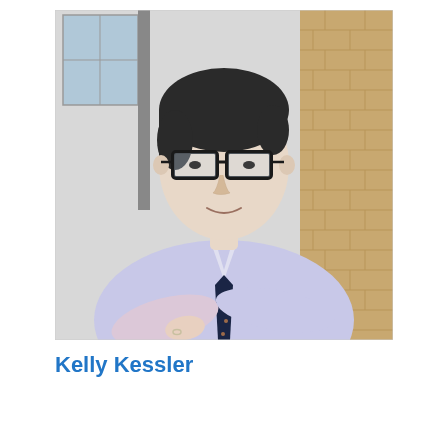[Figure (photo): Portrait photo of Kelly Kessler: a person with short dark hair, black-rimmed glasses, wearing a light lavender/blue Oxford shirt with a dark navy patterned tie, arms crossed, standing outdoors in front of a brick wall and building exterior. They are smiling slightly.]
Kelly Kessler